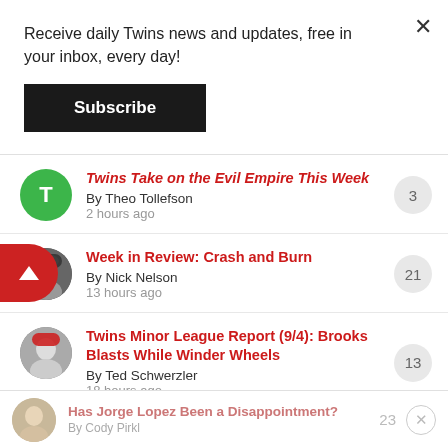Receive daily Twins news and updates, free in your inbox, every day!
Subscribe
Twins Take on the Evil Empire This Week — By Theo Tollefson — 2 hours ago — 3 comments
Week in Review: Crash and Burn — By Nick Nelson — 13 hours ago — 21 comments
Twins Minor League Report (9/4): Brooks Blasts While Winder Wheels — By Ted Schwerzler — 18 hours ago — 13 comments
Has Jorge Lopez Been a Disappointment? — By Cody Pirkl — 23 comments